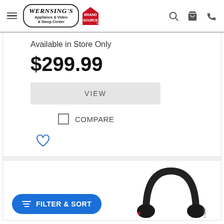Wernsing's Appliance & Video & Sleep Center Brand Source
Available in Store Only
$299.99
VIEW
COMPARE
[Figure (photo): Sony over-ear headphones in black, partially visible at bottom of page]
FILTER & SORT